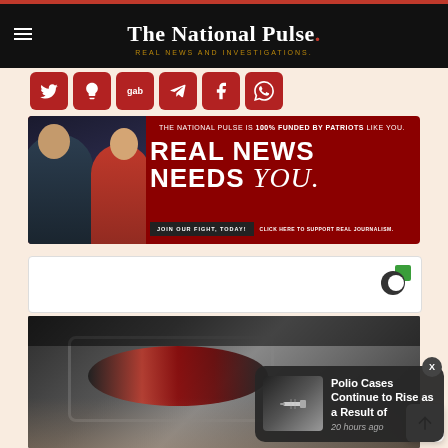The National Pulse. REAL NEWS AND INVESTIGATIONS.
[Figure (screenshot): Social media icon buttons row: Twitter, light bulb icon, Gab, Telegram, Facebook, WhatsApp — all in dark red rounded squares]
[Figure (infographic): Ad banner: THE NATIONAL PULSE IS 100% FUNDED BY PATRIOTS LIKE YOU. REAL NEWS NEEDS you. JOIN OUR FIGHT, TODAY! CLICK HERE TO SUPPORT REAL JOURNALISM. Features two people on the left side.]
[Figure (logo): Taboola-style circular C logo with green square accent, on white ad card background]
[Figure (photo): Close-up photo of a person's eye area with glasses partially visible, dark tones]
[Figure (screenshot): Notification popup: thumbnail image of syringe/needle, text: Polio Cases Continue to Rise as a Result of, 20 hours ago, with X close button]